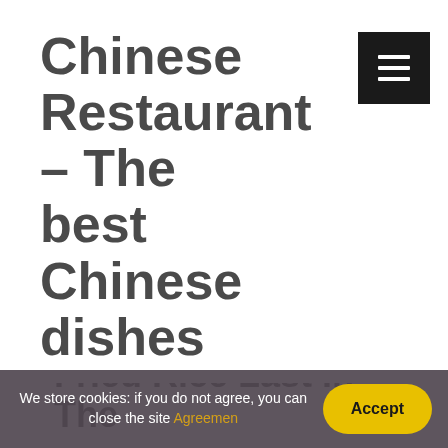Chinese Restaurant – The best Chinese dishes
Often asked: How Long Does Chicken Fried Rice Last In The
We store cookies: if you do not agree, you can close the site Agreemen